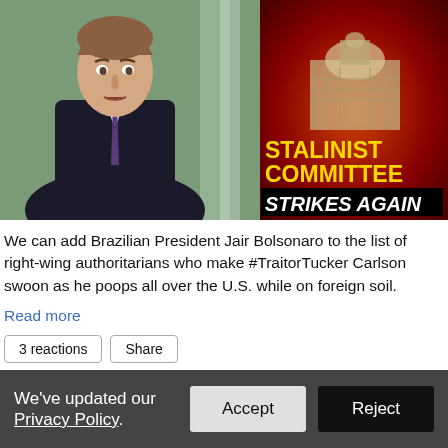[Figure (screenshot): TV screenshot showing a man in a suit on the left side, and on the right side a graphic with the US Capitol building in red/dark background with text reading 'STALINIST COMMITTEE STRIKES AGAIN' in yellow and white italic text.]
We can add Brazilian President Jair Bolsonaro to the list of right-wing authoritarians who make #TraitorTucker Carlson swoon as he poops all over the U.S. while on foreign soil.
Read more
3 reactions   Share
We've updated our Privacy Policy.   Accept   Reject